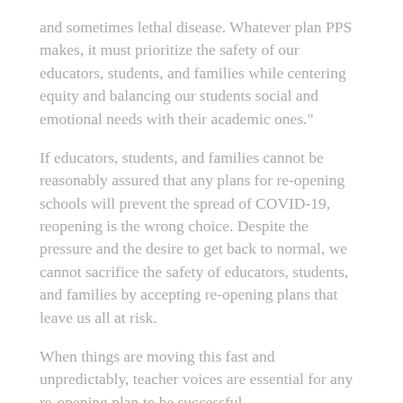and sometimes lethal disease. Whatever plan PPS makes, it must prioritize the safety of our educators, students, and families while centering equity and balancing our students social and emotional needs with their academic ones."
If educators, students, and families cannot be reasonably assured that any plans for re-opening schools will prevent the spread of COVID-19, reopening is the wrong choice. Despite the pressure and the desire to get back to normal, we cannot sacrifice the safety of educators, students, and families by accepting re-opening plans that leave us all at risk.
When things are moving this fast and unpredictably, teacher voices are essential for any re-opening plan to be successful.
Our PAT Bargaining Team is working throughout the summer to reach an MOU around our working